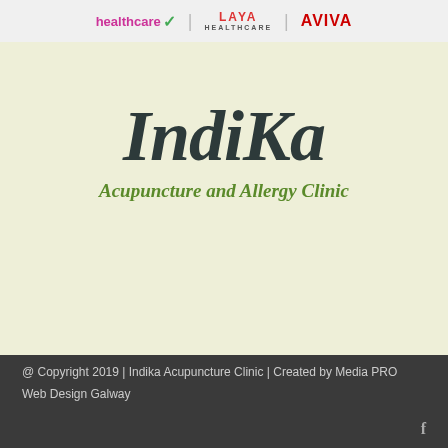[Figure (logo): Header bar with three insurance/healthcare logos: 'healthcare' in pink with a green checkmark, 'LAYA HEALTHCARE' in red/grey, and 'AVIVA' in red]
[Figure (logo): Indika Acupuncture and Allergy Clinic logo on light green background. 'IndiKa' in large dark handwritten/italic font, below it 'Acupuncture and Allergy Clinic' in green italic bold serif font]
@ Copyright 2019 | Indika Acupuncture Clinic | Created by Media PRO Web Design Galway